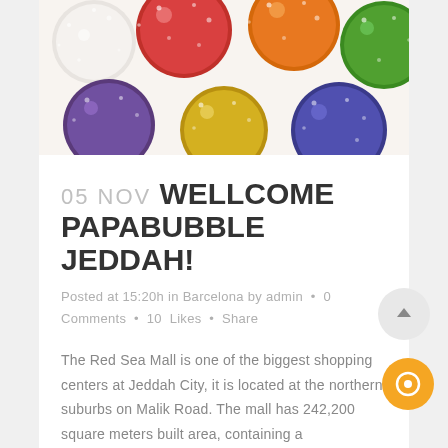[Figure (photo): Close-up photo of colorful sugar-coated gumdrops/candy in red, orange, yellow, purple, green and white colors]
05 NOV WELLCOME PAPABUBBLE JEDDAH!
Posted at 15:20h in Barcelona by admin • 0 Comments • 10 Likes • Share
The Red Sea Mall is one of the biggest shopping centers at Jeddah City, it is located at the northern suburbs on Malik Road. The mall has 242,200 square meters built area, containing a